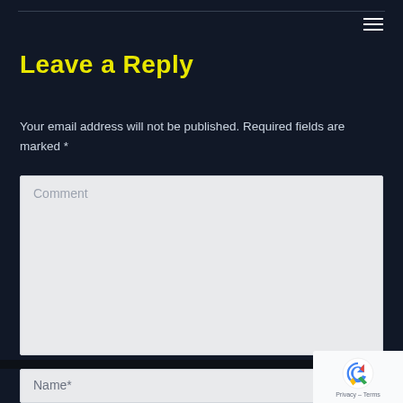Leave a Reply
Your email address will not be published. Required fields are marked *
[Figure (screenshot): Comment textarea input field with placeholder text 'Comment' on a light gray background]
[Figure (screenshot): Name input field with placeholder text 'Name*' on a light gray background]
[Figure (logo): reCAPTCHA badge with Google reCAPTCHA logo and Privacy - Terms links]